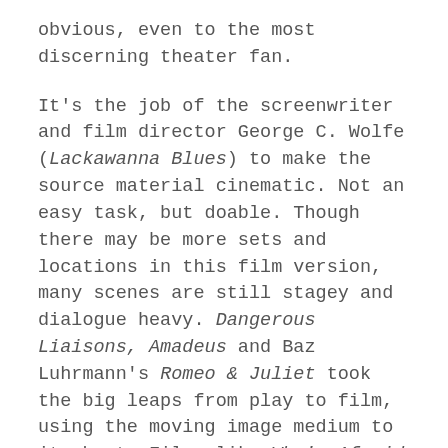obvious, even to the most discerning theater fan.
It's the job of the screenwriter and film director George C. Wolfe (Lackawanna Blues) to make the source material cinematic. Not an easy task, but doable. Though there may be more sets and locations in this film version, many scenes are still stagey and dialogue heavy. Dangerous Liaisons, Amadeus and Baz Luhrmann's Romeo & Juliet took the big leaps from play to film, using the moving image medium to its best. Films like Who's Afraid of Virginia Wolf and Glengarry Glenn Ross didn't, but were excellent anyway. Ma… goes in that latter category.